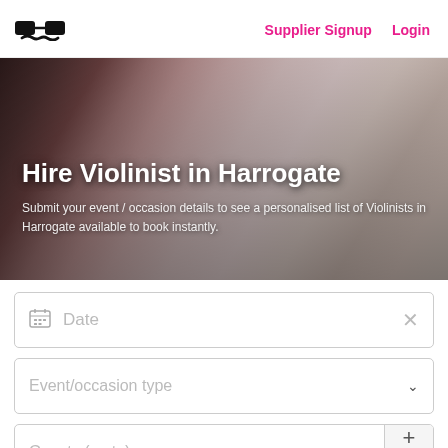Supplier Signup   Login
Hire Violinist in Harrogate
Submit your event / occasion details to see a personalised list of Violinists in Harrogate available to book instantly.
[Figure (screenshot): Web form with Date field, Event/occasion type dropdown, and Guests (up to) field with plus/minus controls]